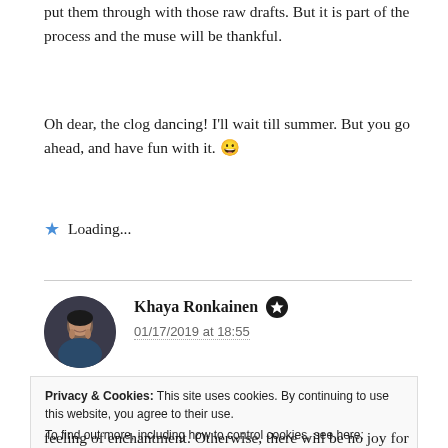put them through with those raw drafts. But it is part of the process and the muse will be thankful.
Oh dear, the clog dancing! I'll wait till summer. But you go ahead, and have fun with it. 😀
★ Loading...
Khaya Ronkainen ✪
01/17/2019 at 18:55
Privacy & Cookies: This site uses cookies. By continuing to use this website, you agree to their use. To find out more, including how to control cookies, see here: Cookie Policy
Close and accept
feeling of enchantment. Otherwise, there will be no joy for